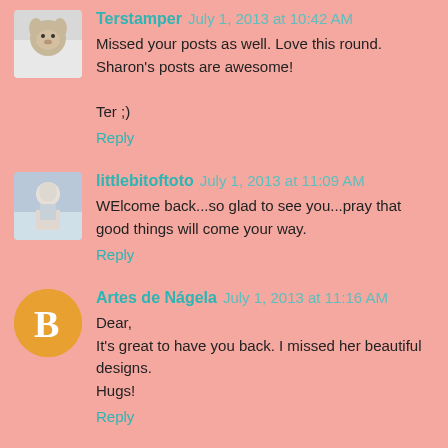Terstamper July 1, 2013 at 10:42 AM
Missed your posts as well. Love this round. Sharon's posts are awesome!

Ter ;)
Reply
littlebitoftoto July 1, 2013 at 11:09 AM
WElcome back...so glad to see you...pray that good things will come your way.
Reply
Artes de Nágela July 1, 2013 at 11:16 AM
Dear,
It's great to have you back. I missed her beautiful designs.
Hugs!
Reply